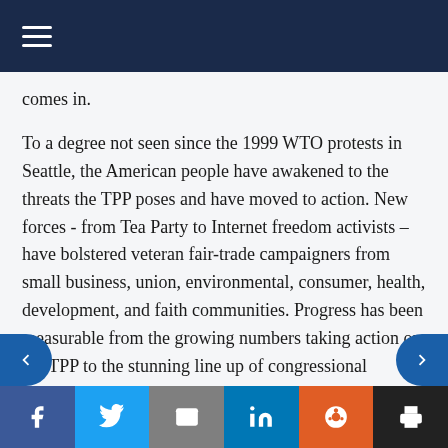Navigation menu (hamburger icon)
comes in.
To a degree not seen since the 1999 WTO protests in Seattle, the American people have awakened to the threats the TPP poses and have moved to action. New forces - from Tea Party to Internet freedom activists – have bolstered veteran fair-trade campaigners from small business, union, environmental, consumer, health, development, and faith communities. Progress has been measurable from the growing numbers taking action on the TPP to the stunning line up of congressional
Share bar: Facebook, Twitter, Email, LinkedIn, Reddit, Print